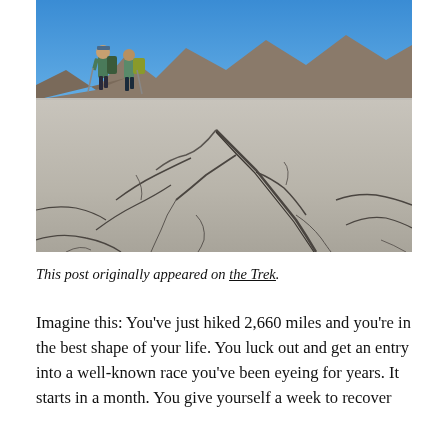[Figure (photo): Two hikers with backpacks and trekking poles walking across a cracked dry lakebed (playa) in a desert, with mountains and bright blue sky in the background. The foreground shows deep cracks in the dry, pale grey earth.]
This post originally appeared on the Trek.
Imagine this: You've just hiked 2,660 miles and you're in the best shape of your life. You luck out and get an entry into a well-known race you've been eyeing for years. It starts in a month. You give yourself a week to recover.